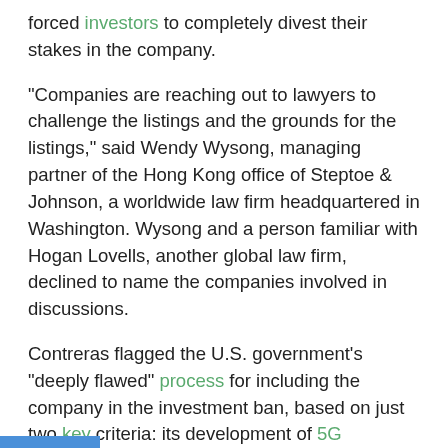forced investors to completely divest their stakes in the company.
"Companies are reaching out to lawyers to challenge the listings and the grounds for the listings," said Wendy Wysong, managing partner of the Hong Kong office of Steptoe & Johnson, a worldwide law firm headquartered in Washington. Wysong and a person familiar with Hogan Lovells, another global law firm, declined to name the companies involved in discussions.
Contreras flagged the U.S. government’s “deeply flawed” process for including the company in the investment ban, based on just two key criteria: its development of 5G technology and artificial intelligence, which the Defense Department alleges are "essential to modern military operations," and an award given to Xiaomi founder and Chief Executive Lei Jun from an organization said to help the Chinese government eliminate barriers between